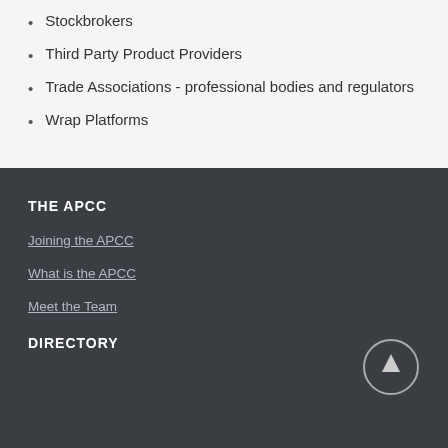Stockbrokers
Third Party Product Providers
Trade Associations - professional bodies and regulators
Wrap Platforms
THE APCC
Joining the APCC
What is the APCC
Meet the Team
DIRECTORY